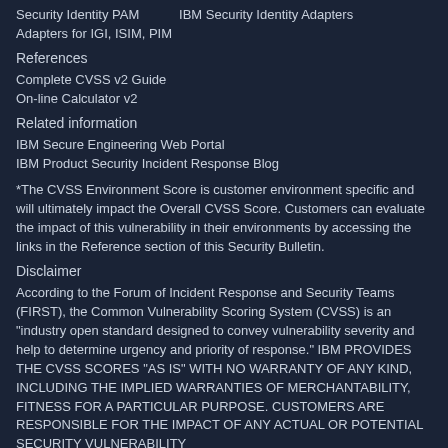Security Identity PAM           IBM Security Identity Adapters for IGI, ISIM, PIM
References
Complete CVSS v2 Guide
On-line Calculator v2
Related information
IBM Secure Engineering Web Portal
IBM Product Security Incident Response Blog
*The CVSS Environment Score is customer environment specific and will ultimately impact the Overall CVSS Score. Customers can evaluate the impact of this vulnerability in their environments by accessing the links in the Reference section of this Security Bulletin.
Disclaimer
According to the Forum of Incident Response and Security Teams (FIRST), the Common Vulnerability Scoring System (CVSS) is an "industry open standard designed to convey vulnerability severity and help to determine urgency and priority of response." IBM PROVIDES THE CVSS SCORES "AS IS" WITH NO WARRANTY OF ANY KIND, INCLUDING THE IMPLIED WARRANTIES OF MERCHANTABILITY, FITNESS FOR A PARTICULAR PURPOSE. CUSTOMERS ARE RESPONSIBLE FOR THE IMPACT OF ANY ACTUAL OR POTENTIAL SECURITY VULNERABILITY
- --------------------------END INCLUDED TEXT----------------------
You have received this e-mail bulletin as a result of your organisation's registration with AusCERT. The mailing list you are subscribed to is maintained within your organisation, so if you do not wish to continue